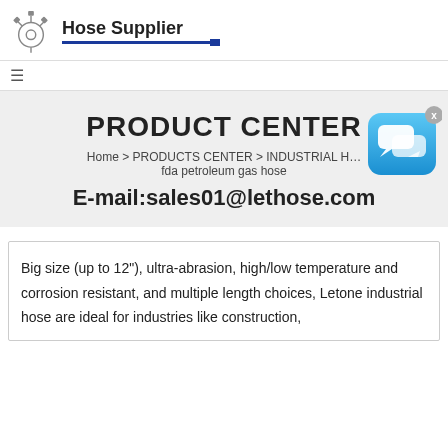[Figure (logo): Hose Supplier logo with industrial icon and blue underline]
≡
PRODUCT CENTER
Home > PRODUCTS CENTER > INDUSTRIAL H… fda petroleum gas hose
E-mail:sales01@lethose.com
[Figure (illustration): Blue chat widget icon with speech bubbles and close button]
Big size (up to 12"), ultra-abrasion, high/low temperature and corrosion resistant, and multiple length choices, Letone industrial hose are ideal for industries like construction,